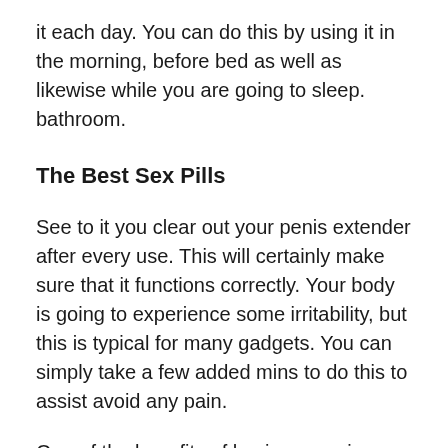it each day. You can do this by using it in the morning, before bed as well as likewise while you are going to sleep. bathroom.
The Best Sex Pills
See to it you clear out your penis extender after every use. This will certainly make sure that it functions correctly. Your body is going to experience some irritability, but this is typical for many gadgets. You can simply take a few added mins to do this to assist avoid any pain.
One of the benefits of having a penis extender is that it can make you look much better concerning yourself. When you have a larger penis you will certainly feel much